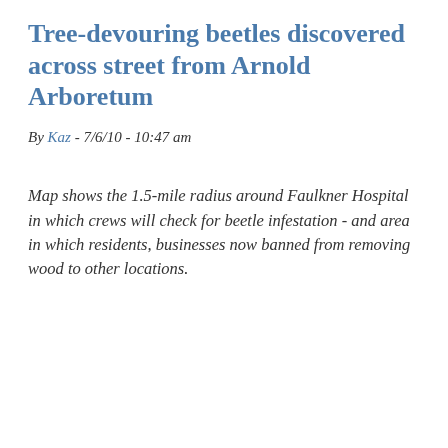Tree-devouring beetles discovered across street from Arnold Arboretum
By Kaz - 7/6/10 - 10:47 am
Map shows the 1.5-mile radius around Faulkner Hospital in which crews will check for beetle infestation - and area in which residents, businesses now banned from removing wood to other locations.